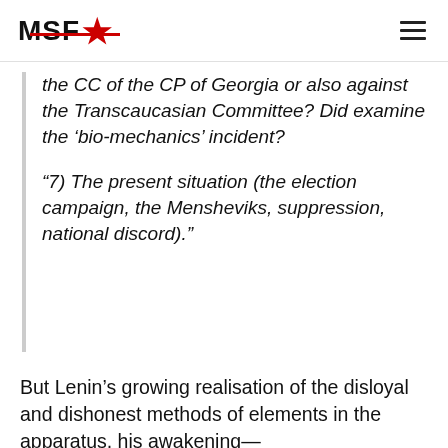MSF★ (logo with hamburger menu)
the CC of the CP of Georgia or also against the Transcaucasian Committee? Did examine the 'bio-mechanics' incident?

"7) The present situation (the election campaign, the Mensheviks, suppression, national discord)."
But Lenin's growing realisation of the disloyal and dishonest methods of elements in the apparatus, his awakening—